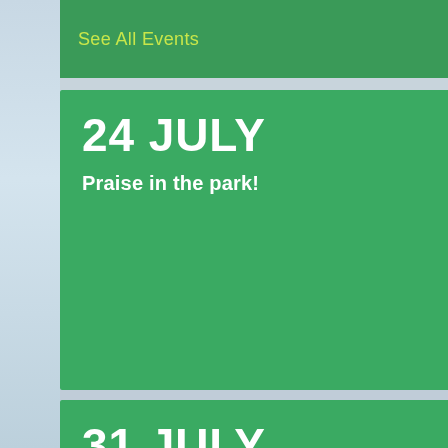See All Events
24 JULY
Praise in the park!
31 JULY
Guest service